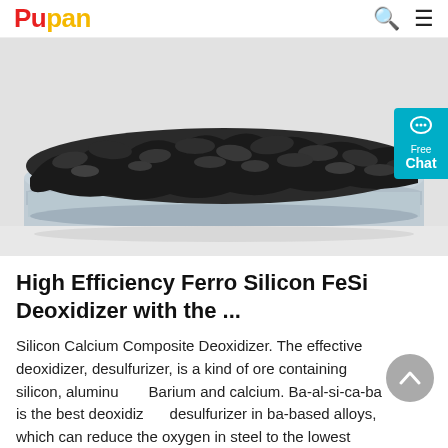Pupan
[Figure (photo): A close-up photo of dark granular ferro silicon material piled in a round shallow container/dish, on a white background.]
High Efficiency Ferro Silicon FeSi Deoxidizer with the ...
Silicon Calcium Composite Deoxidizer. The effective deoxidizer, desulfurizer, is a kind of ore containing silicon, aluminum, Barium and calcium. Ba-al-si-ca-ba is the best deoxidizer desulfurizer in ba-based alloys, which can reduce the oxygen in steel to the lowest level and formplex oxides...